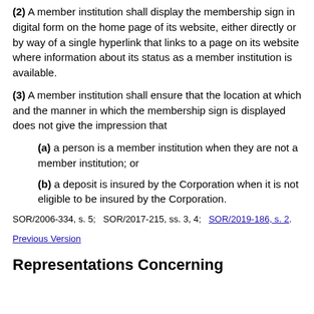(2) A member institution shall display the membership sign in digital form on the home page of its website, either directly or by way of a single hyperlink that links to a page on its website where information about its status as a member institution is available.
(3) A member institution shall ensure that the location at which and the manner in which the membership sign is displayed does not give the impression that
(a) a person is a member institution when they are not a member institution; or
(b) a deposit is insured by the Corporation when it is not eligible to be insured by the Corporation.
SOR/2006-334, s. 5;   SOR/2017-215, ss. 3, 4;   SOR/2019-186, s. 2.
Previous Version
Representations Concerning